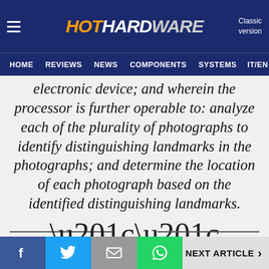HotHardware — HOME  REVIEWS  NEWS  COMPONENTS  SYSTEMS  IT/EN
electronic device; and wherein the processor is further operable to: analyze each of the plurality of photographs to identify distinguishing landmarks in the photographs; and determine the location of each photograph based on the identified distinguishing landmarks.
Apple would use the recording feature to try to pattern match against authorized voice signatures for the device. Additionally, the patent goes further and says that the device could even monitor a user's heartbeat to confirm
f  Twitter  Email  WhatsApp  NEXT ARTICLE >